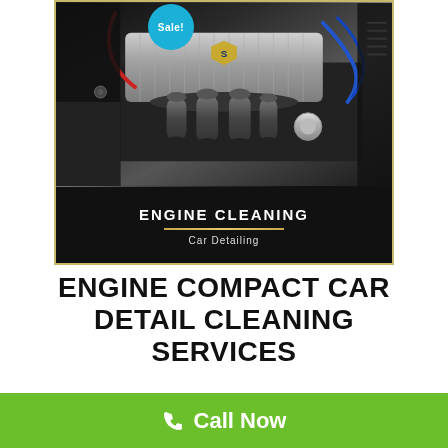[Figure (photo): Car engine bay photograph showing a high-performance engine with multiple air intakes, blue wiring, chrome components, and a shield logo on the intake. A 'Sale!' badge appears in the top-left corner of the image card. Below the photo is a black banner with 'ENGINE CLEANING' in bold white uppercase letters, a gold divider line, and 'Car Detailing' in smaller grey text.]
ENGINE COMPACT CAR DETAIL CLEANING SERVICES
Call Now